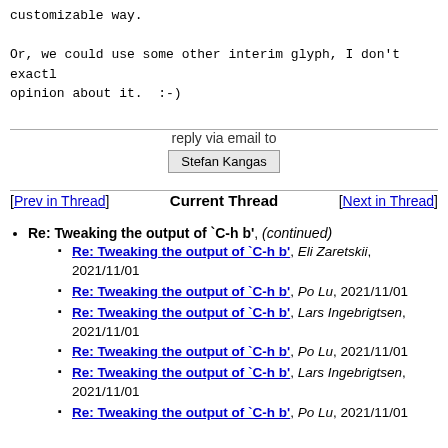customizable way.

Or, we could use some other interim glyph, I don't exactly have a strong opinion about it.  :-)
reply via email to
Stefan Kangas
[Prev in Thread]   Current Thread   [Next in Thread]
Re: Tweaking the output of `C-h b', (continued)
Re: Tweaking the output of `C-h b', Eli Zaretskii, 2021/11/01
Re: Tweaking the output of `C-h b', Po Lu, 2021/11/01
Re: Tweaking the output of `C-h b', Lars Ingebrigtsen, 2021/11/01
Re: Tweaking the output of `C-h b', Po Lu, 2021/11/01
Re: Tweaking the output of `C-h b', Lars Ingebrigtsen, 2021/11/01
Re: Tweaking the output of `C-h b', Po Lu, 2021/11/01